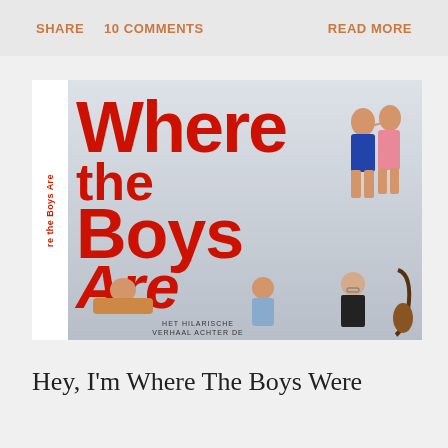SHARE   10 COMMENTS   READ MORE
[Figure (photo): Movie poster for 'Where the Boys Are' — large red bold text title dominates the poster with illustrated figures of couples and beach-goers. Left spine reads 're the Boys Are' in red. Bottom of poster shows 'HET HILARISCHE VERHAAL ACHTER DE'.]
Hey, I'm Where The Boys Were